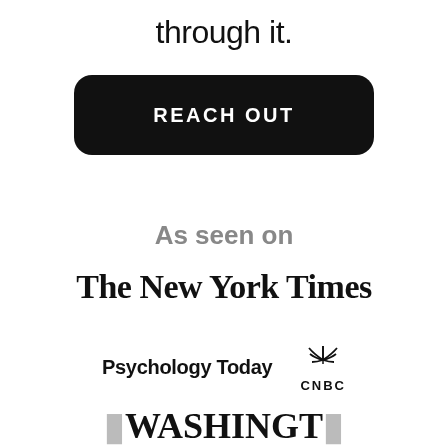through it.
[Figure (other): Black rounded rectangle button with white uppercase text 'REACH OUT']
As seen on
[Figure (logo): The New York Times logo in blackletter/old english serif font]
[Figure (logo): Psychology Today logo in bold sans-serif and CNBC peacock logo side by side]
[Figure (logo): Washington Post logo partially visible at bottom]